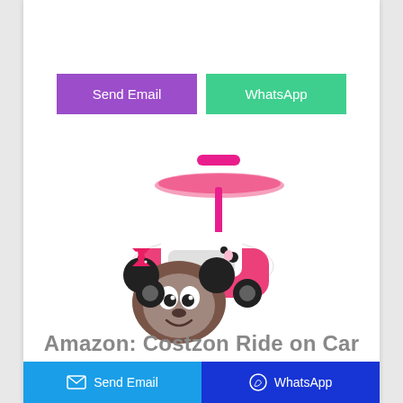[Figure (other): Two action buttons: purple 'Send Email' button and green 'WhatsApp' button side by side]
[Figure (photo): Minnie Mouse themed pink ride-on car toy with parent push handle and canopy/umbrella attachment, featuring a Minnie Mouse face at the front]
Amazon: Costzon Ride on Car
Send Email  |  WhatsApp